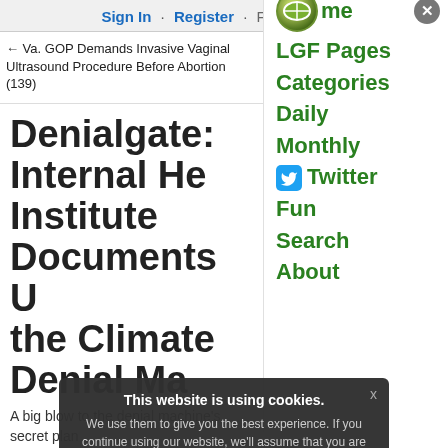Sign In · Register · Forgot passw
← Va. GOP Demands Invasive Vaginal Ultrasound Procedure Before Abortion (139)
Front Page
Jon Ste 'Raped
LGF Pages
Categories
Daily
Monthly
Twitter
Fun
Search
About
Denialgate: Internal He Institute Documents U the Climate Denial Ma
A big blow to the denial machine's secret plan
By Charles Johnson
Environment
This website is using cookies. We use them to give you the best experience. If you continue using our website, we'll assume that you are happy to receive all cookies on this website. Continue Learn more